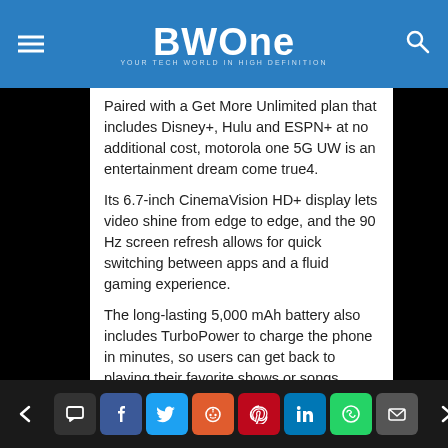BWOne — Your Tech World in High Definition
Paired with a Get More Unlimited plan that includes Disney+, Hulu and ESPN+ at no additional cost, motorola one 5G UW is an entertainment dream come true4.
Its 6.7-inch CinemaVision HD+ display lets video shine from edge to edge, and the 90 Hz screen refresh allows for quick switching between apps and a fluid gaming experience.
The long-lasting 5,000 mAh battery also includes TurboPower to charge the phone in minutes, so users can get back to playing their favorite shows or songs.
REPLY
Navigation and social share bar